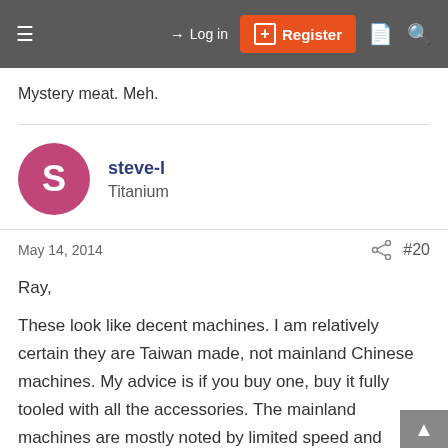≡  → Log in  ⊞ Register  🗋  🔍
Mystery meat. Meh.
steve-l
Titanium
May 14, 2014  #20
Ray,
These look like decent machines. I am relatively certain they are Taiwan made, not mainland Chinese machines. My advice is if you buy one, buy it fully tooled with all the accessories. The mainland machines are mostly noted by limited speed and threading ranges. I noticed these machines go from 40 to 2000 RPM, which is fine. So be certain all the change gears for threading are available, the taper attachment uses a differential cross feed screw